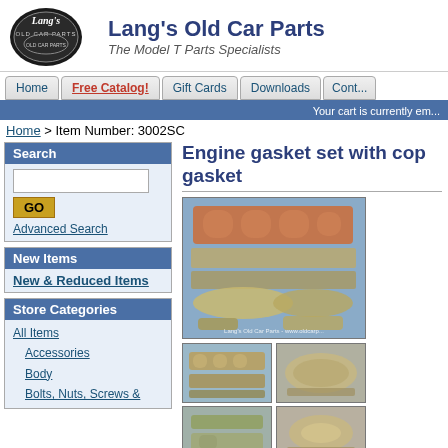[Figure (logo): Lang's Old Car Parts logo with cursive text]
Lang's Old Car Parts
The Model T Parts Specialists
Home | Free Catalog! | Gift Cards | Downloads | Cont...
Your cart is currently em...
Home > Item Number: 3002SC
Search
Advanced Search
New Items
New & Reduced Items
Store Categories
All Items
Accessories
Body
Bolts, Nuts, Screws &
Engine gasket set with cop gasket
[Figure (photo): Engine gasket set with copper head gasket, main product photo]
[Figure (photo): Engine gasket thumbnail 1]
[Figure (photo): Engine gasket thumbnail 2]
[Figure (photo): Engine gasket thumbnail 3]
[Figure (photo): Engine gasket thumbnail 4]